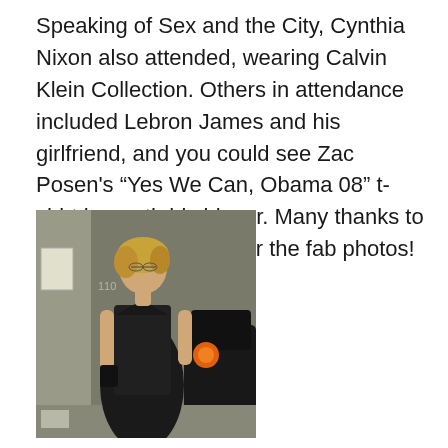Speaking of Sex and the City, Cynthia Nixon also attended, wearing Calvin Klein Collection. Others in attendance included Lebron James and his girlfriend, and you could see Zac Posen's “Yes We Can, Obama 08” t-shirt beneath his blazer. Many thanks to Fashion Week Daily for the fab photos!
[Figure (photo): Photo of Cynthia Nixon standing outdoors in a black halter dress, with short blonde hair, in front of a building wall and dark car]